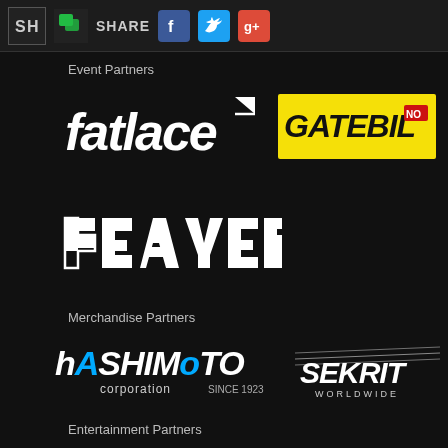SH | Share | Facebook | Twitter | Google+
Event Partners
[Figure (logo): Fatlace logo in white italic text with triangle/arrow symbol]
[Figure (logo): Gatebil.no logo in black italic text on yellow background with red .no badge]
[Figure (logo): Playerz/Players logo in white geometric/angular custom lettering]
Merchandise Partners
[Figure (logo): Hashimoto Corporation Since 1923 logo in white and blue text]
[Figure (logo): Sekrit Worldwide logo in white italic racing-style text with speed lines]
Entertainment Partners
[Figure (logo): Need for Speed logo in blue and white italic text]